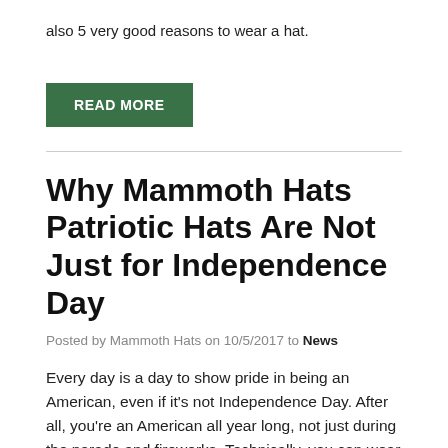also 5 very good reasons to wear a hat.
READ MORE
Why Mammoth Hats Patriotic Hats Are Not Just for Independence Day
Posted by Mammoth Hats on 10/5/2017 to News
Every day is a day to show pride in being an American, even if it’s not Independence Day. After all, you’re an American all year long, not just during the parade and fireworks. Technically, you can wear